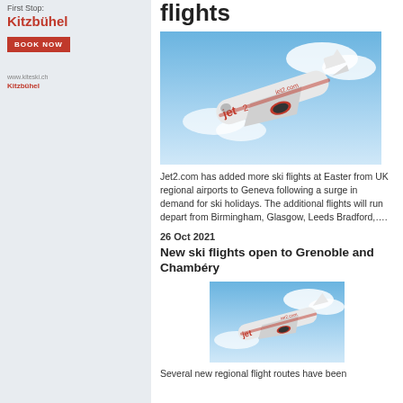First Stop:
Kitzbühel
BOOK NOW
www.kiteski.ch
Kitzbühel
flights
[Figure (photo): Jet2.com airplane in flight against blue sky]
Jet2.com has added more ski flights at Easter from UK regional airports to Geneva following a surge in demand for ski holidays. The additional flights will run depart from Birmingham, Glasgow, Leeds Bradford,….
26 Oct 2021
New ski flights open to Grenoble and Chambéry
[Figure (photo): Jet2.com airplane in flight against blue sky, smaller image]
Several new regional flight routes have been